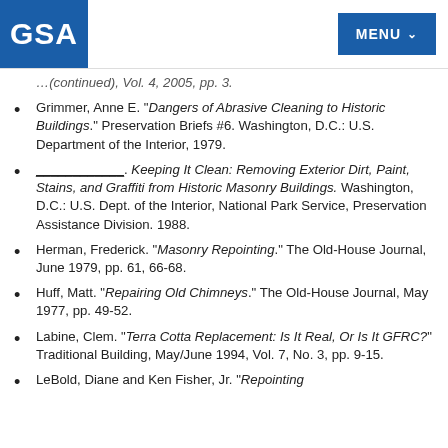GSA | MENU
…(truncated)…, pp. 3.
Grimmer, Anne E. "Dangers of Abrasive Cleaning to Historic Buildings." Preservation Briefs #6. Washington, D.C.: U.S. Department of the Interior, 1979.
____________. Keeping It Clean: Removing Exterior Dirt, Paint, Stains, and Graffiti from Historic Masonry Buildings. Washington, D.C.: U.S. Dept. of the Interior, National Park Service, Preservation Assistance Division. 1988.
Herman, Frederick. "Masonry Repointing." The Old-House Journal, June 1979, pp. 61, 66-68.
Huff, Matt. "Repairing Old Chimneys." The Old-House Journal, May 1977, pp. 49-52.
Labine, Clem. "Terra Cotta Replacement: Is It Real, Or Is It GFRC?" Traditional Building, May/June 1994, Vol. 7, No. 3, pp. 9-15.
LeBold, Diane and Ken Fisher, Jr. "Repointing…